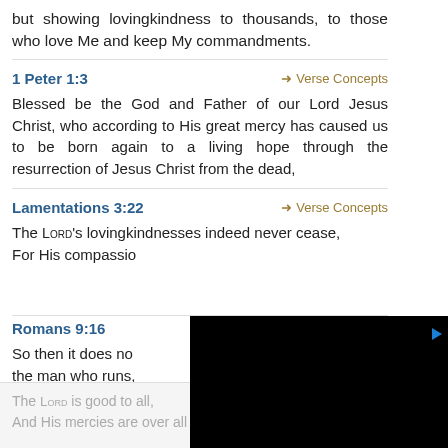but showing lovingkindness to thousands, to those who love Me and keep My commandments.
1 Peter 1:3
Blessed be the God and Father of our Lord Jesus Christ, who according to His great mercy has caused us to be born again to a living hope through the resurrection of Jesus Christ from the dead,
Lamentations 3:22
The LORD's lovingkindnesses indeed never cease, For His compassion...
Romans 9:16
So then it does not depend on the man who wills or the man who runs,...
Psalm 145:9
The LORD is good to all, And His mercies are over all His works.